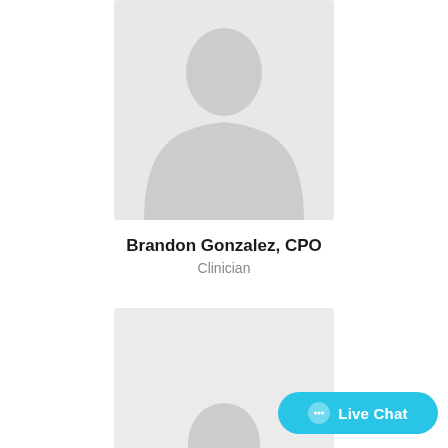[Figure (illustration): Generic placeholder silhouette avatar image for Brandon Gonzalez, CPO — grey background with grey person silhouette]
Brandon Gonzalez, CPO
Clinician
[Figure (illustration): Second generic placeholder silhouette avatar image partially visible at bottom of page]
Live Chat